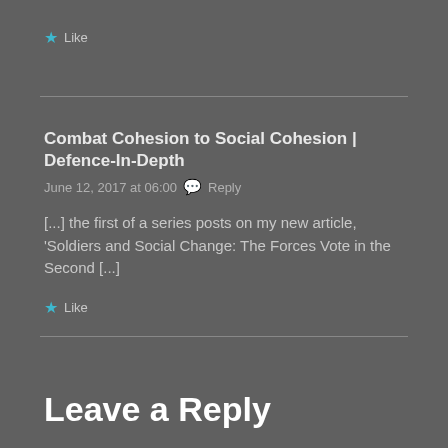★ Like
Combat Cohesion to Social Cohesion | Defence-In-Depth
June 12, 2017 at 06:00  💬 Reply
[...] the first of a series posts on my new article, 'Soldiers and Social Change: The Forces Vote in the Second [...]
★ Like
Leave a Reply